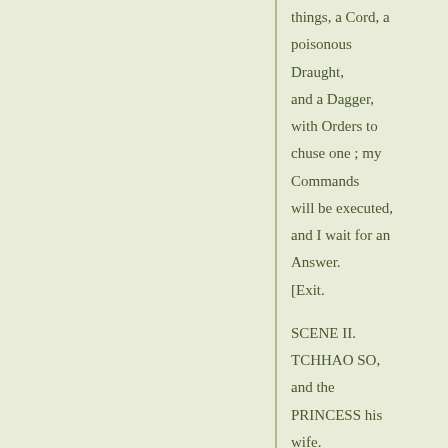things, a Cord, a poisonous Draught, and a Dagger, with Orders to chuse one ; my Commands will be executed, and I wait for an Answer.
[Exit.
SCENE II. TCHHAO SO, and the PRINCESS his wife.
TCHAO SO.